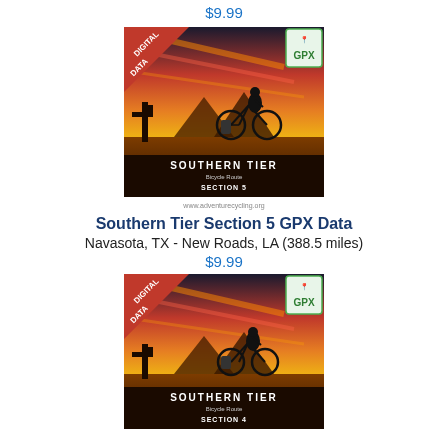$9.99
[Figure (illustration): Southern Tier Bicycle Route Section 5 GPX Data product image showing a cyclist silhouette against a desert sunset, with 'DIGITAL DATA' red banner and green GPX icon in top right corner.]
Southern Tier Section 5 GPX Data
Navasota, TX - New Roads, LA (388.5 miles)
$9.99
[Figure (illustration): Southern Tier Bicycle Route Section 4 GPX Data product image showing a cyclist silhouette against a desert sunset, with 'DIGITAL DATA' red banner and green GPX icon in top right corner.]